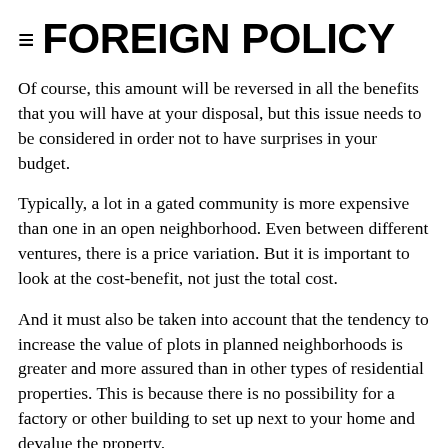≡ FOREIGN POLICY
Of course, this amount will be reversed in all the benefits that you will have at your disposal, but this issue needs to be considered in order not to have surprises in your budget.
Typically, a lot in a gated community is more expensive than one in an open neighborhood. Even between different ventures, there is a price variation. But it is important to look at the cost-benefit, not just the total cost.
And it must also be taken into account that the tendency to increase the value of plots in planned neighborhoods is greater and more assured than in other types of residential properties. This is because there is no possibility for a factory or other building to set up next to your home and devalue the property.